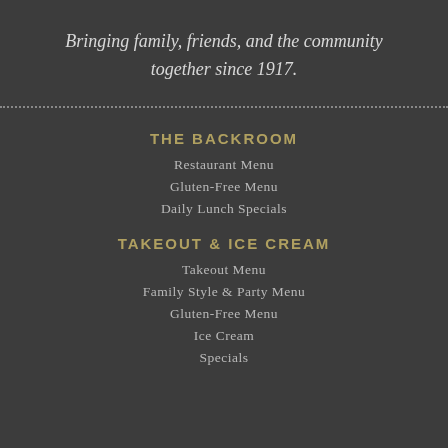Bringing family, friends, and the community together since 1917.
THE BACKROOM
Restaurant Menu
Gluten-Free Menu
Daily Lunch Specials
TAKEOUT & ICE CREAM
Takeout Menu
Family Style & Party Menu
Gluten-Free Menu
Ice Cream
Specials